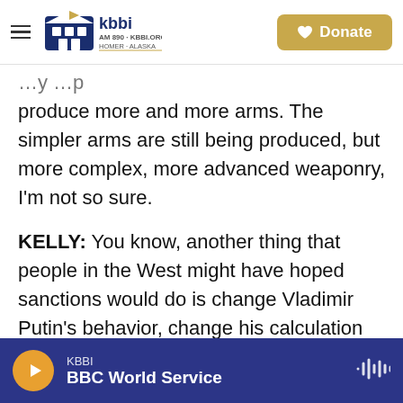KBBI AM 890 + KBBI.ORG HOMER ALASKA | Donate
produce more and more arms. The simpler arms are still being produced, but more complex, more advanced weaponry, I'm not so sure.
KELLY: You know, another thing that people in the West might have hoped sanctions would do is change Vladimir Putin's behavior, change his calculation for whether this war in Ukraine is worth it. So far, we see no sign that that is the case.
MATVEEV: Right. So this is very unlikely. And I don't think that it was a realistic goal. Putin is very determined to wage this war, and he's prepared for
KBBI | BBC World Service